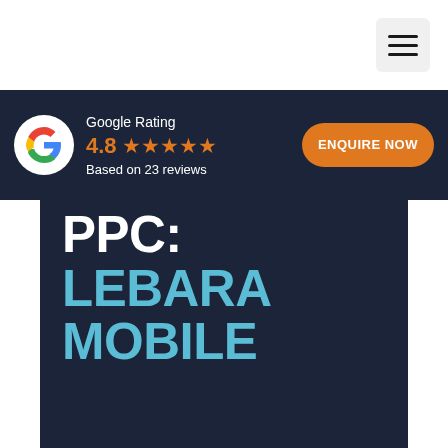[Figure (infographic): Hamburger menu icon in top right corner]
[Figure (infographic): Google Rating banner with Google G logo, 4.8 star rating based on 23 reviews, and orange ENQUIRE NOW button]
PPC: LEBARA MOBILE